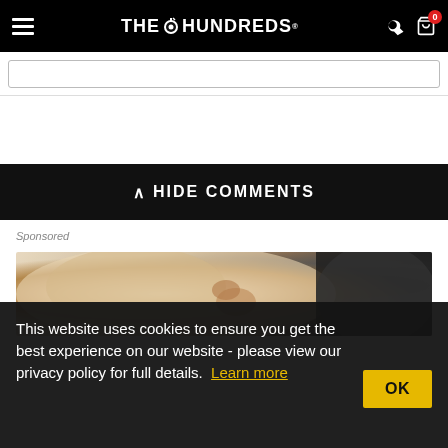THE HUNDREDS
[Figure (screenshot): Search input box partially visible]
^ HIDE COMMENTS
Sponsored
[Figure (photo): Sponsored advertisement image showing close-up of animal fur (light and dark colored animals)]
This website uses cookies to ensure you get the best experience on our website - please view our privacy policy for full details. Learn more